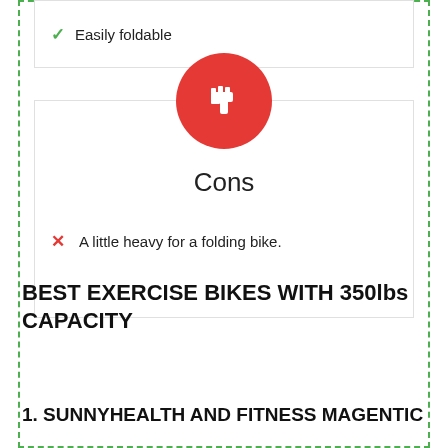✓ Easily foldable
[Figure (illustration): Red circle with white thumbs-down icon representing Cons section header]
Cons
✗ A little heavy for a folding bike.
BEST EXERCISE BIKES WITH 350lbs CAPACITY
1. SUNNYHEALTH AND FITNESS MAGENTIC